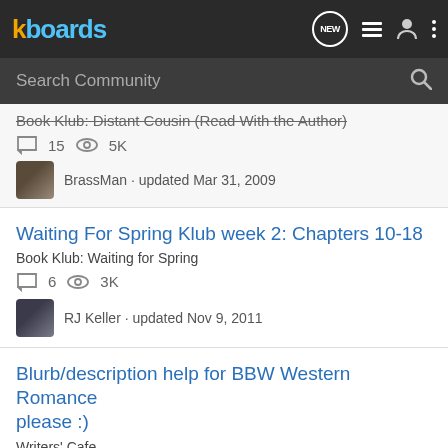kboards
Search Community
Book Klub: Distant Cousin (Read With the Author) · 15 comments · 5K views · BrassMan · updated Mar 31, 2009
Waiting For Spring Klub week 2: Chapters 10-18
Book Klub: Waiting for Spring
6 comments · 3K views · RJ Keller · updated Nov 9, 2011
Blurb/description help for BBW Western Romance please :)
Writers' Cafe